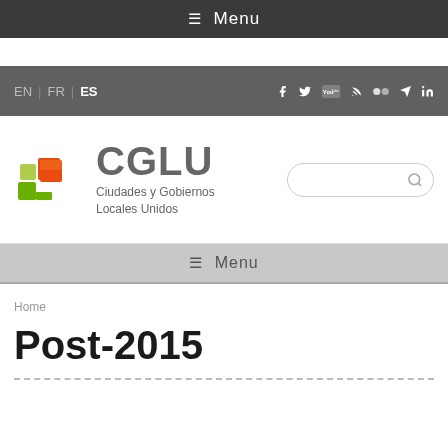☰ Menu
EN | FR | ES
[Figure (logo): CGLU logo with colorful puzzle-piece icon and text: CGLU - Ciudades y Gobiernos Locales Unidos]
☰ Menu
Home
Post-2015